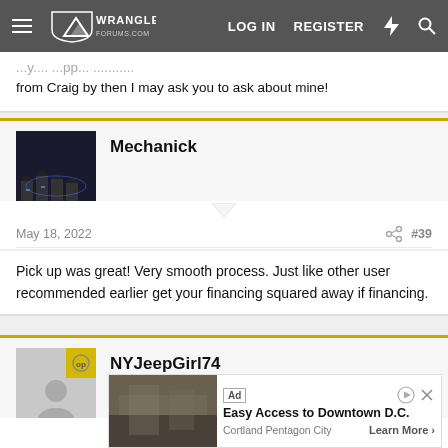Wrangler Forums — LOG IN  REGISTER
from Craig by then I may ask you to ask about mine!
Mechanick
May 18, 2022  #39
Pick up was great! Very smooth process. Just like other user recommended earlier get your financing squared away if financing.
NYJeepGirl74
May 18,  #40
Ad  Easy Access to Downtown D.C.  Cortland Pentagon City  Learn More